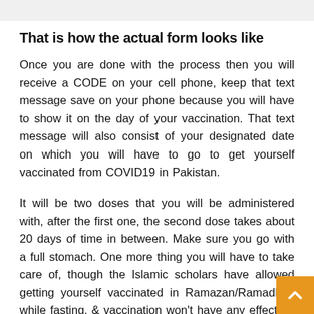That is how the actual form looks like
Once you are done with the process then you will receive a CODE on your cell phone, keep that text message save on your phone because you will have to show it on the day of your vaccination. That text message will also consist of your designated date on which you will have to go to get yourself vaccinated from COVID19 in Pakistan.
It will be two doses that you will be administered with, after the first one, the second dose takes about 20 days of time in between. Make sure you go with a full stomach. One more thing you will have to take care of, though the Islamic scholars have allowed getting yourself vaccinated in Ramazan/Ramadhan while fasting, & vaccination won't have any effect on your fast (as it won't break it) to avoid being cut short on the fast on the day of